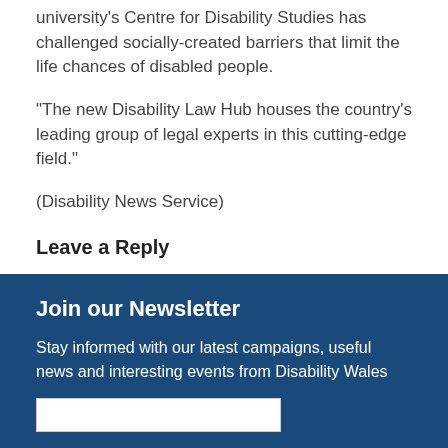university's Centre for Disability Studies has challenged socially-created barriers that limit the life chances of disabled people.
“The new Disability Law Hub houses the country’s leading group of legal experts in this cutting-edge field.”
(Disability News Service)
Leave a Reply
You must be logged in to post a comment.
Join our Newsletter
Stay informed with our latest campaigns, useful news and interesting events from Disability Wales